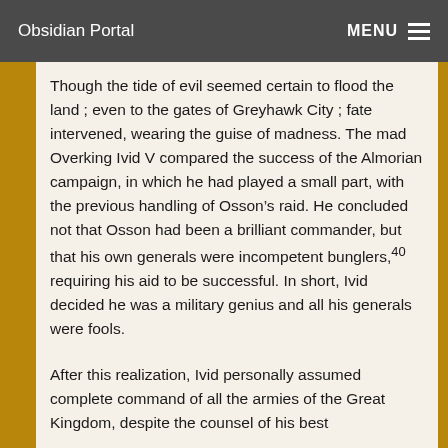Obsidian Portal   MENU
Though the tide of evil seemed certain to flood the land ; even to the gates of Greyhawk City ; fate intervened, wearing the guise of madness. The mad Overking Ivid V compared the success of the Almorian campaign, in which he had played a small part, with the previous handling of Osson’s raid. He concluded not that Osson had been a brilliant commander, but that his own generals were incompetent bunglers,40 requiring his aid to be successful. In short, Ivid decided he was a military genius and all his generals were fools.
After this realization, Ivid personally assumed complete command of all the armies of the Great Kingdom, despite the counsel of his best